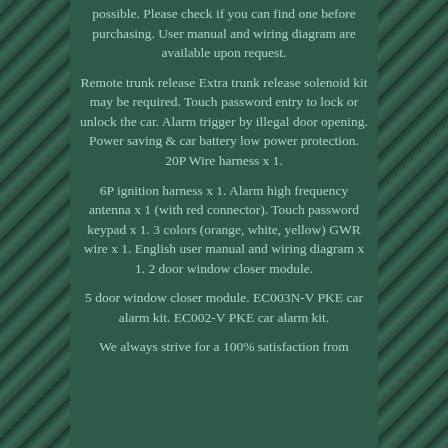possible. Please check if you can find one before purchasing. User manual and wiring diagram are available upon request.
Remote trunk release Extra trunk release solenoid kit may be required. Touch password entry to lock or unlock the car. Alarm trigger by illegal door opening. Power saving & car battery low power protection. 20P Wire harness x 1.
6P ignition harness x 1. Alarm high frequency antenna x 1 (with red connector). Touch password keypad x 1. 3 colors (orange, white, yellow) GWR wire x 1. English user manual and wiring diagram x 1. 2 door window closer module.
5 door window closer module. EC003N-V PKE car alarm kit. EC002-V PKE car alarm kit.
We always strive for a 100% satisfaction from